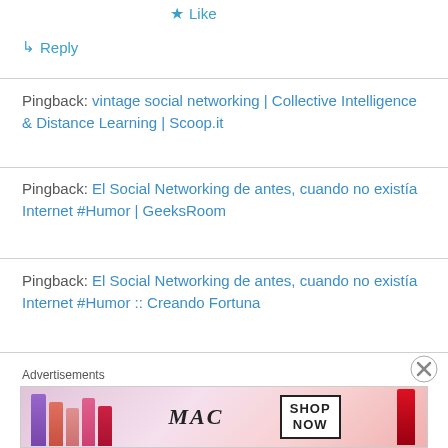★ Like
↳ Reply
Pingback: vintage social networking | Collective Intelligence & Distance Learning | Scoop.it
Pingback: El Social Networking de antes, cuando no existía Internet #Humor | GeeksRoom
Pingback: El Social Networking de antes, cuando no existía Internet #Humor :: Creando Fortuna
Advertisements
[Figure (photo): MAC cosmetics advertisement banner showing lipsticks and 'SHOP NOW' call to action]